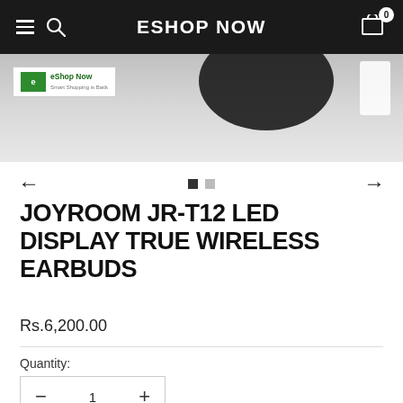ESHOP NOW
[Figure (screenshot): Product image of Joyroom JR-T12 earbuds with eShop Now logo overlay, shown partially cropped at top]
JOYROOM JR-T12 LED DISPLAY TRUE WIRELESS EARBUDS
Rs.6,200.00
Quantity:
1